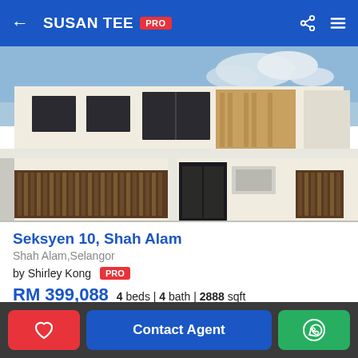SUSAN TEE PRO
[Figure (photo): Exterior photo of a modern two-storey terrace house with white walls, dark wooden fence gate, and wood-panelled facade accent. Blue sky with clouds in the background.]
Seksyen 10, Shah Alam
Shah Alam,Selangor
by Shirley Kong PRO
RM 399,088  4 beds | 4 bath | 2888 sqft
[Figure (photo): Partial interior or exterior photo strip showing light-coloured walls and surfaces.]
Contact Agent